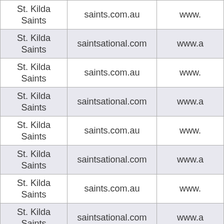| St. Kilda Saints | saints.com.au | www. |
| St. Kilda Saints | saintsational.com | www.a |
| St. Kilda Saints | saints.com.au | www. |
| St. Kilda Saints | saintsational.com | www.a |
| St. Kilda Saints | saints.com.au | www. |
| St. Kilda Saints | saintsational.com | www.a |
| St. Kilda Saints | saints.com.au | www. |
| St. Kilda Saints | saintsational.com | www.a |
| St. Kilda Saints | saints.com.au | www. |